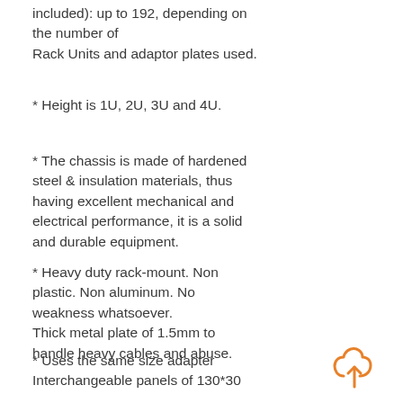included): up to 192, depending on the number of Rack Units and adaptor plates used.
* Height is 1U, 2U, 3U and 4U.
* The chassis is made of hardened steel & insulation materials, thus having excellent mechanical and electrical performance, it is a solid and durable equipment.
* Heavy duty rack-mount. Non plastic. Non aluminum. No weakness whatsoever. Thick metal plate of 1.5mm to handle heavy cables and abuse.
* Uses the same size adapter Interchangeable panels of 130*30
[Figure (illustration): Cloud upload icon in orange outline style]